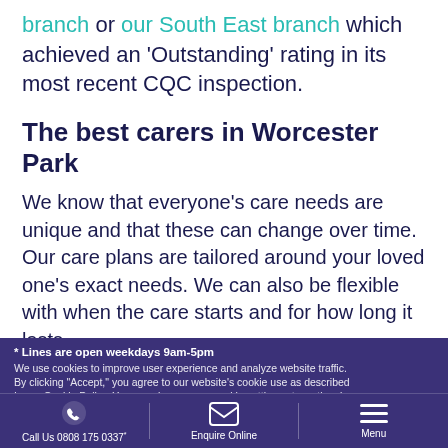branch or our South East branch which achieved an ‘Outstanding’ rating in its most recent CQC inspection.
The best carers in Worcester Park
We know that everyone’s care needs are unique and that these can change over time. Our care plans are tailored around your loved one’s exact needs. We can also be flexible with when the care starts and for how long it lasts.
We can provide respite care for short term
for immediate starts,
* Lines are open weekdays 9am-5pm
We use cookies to improve user experience and analyze website traffic.
By clicking “Accept,” you agree to our website’s cookie use as described
In our Cookie Policy. You can change your cookie settings at any time by
Call Us 0808 175 0337*   Enquire Online   Menu